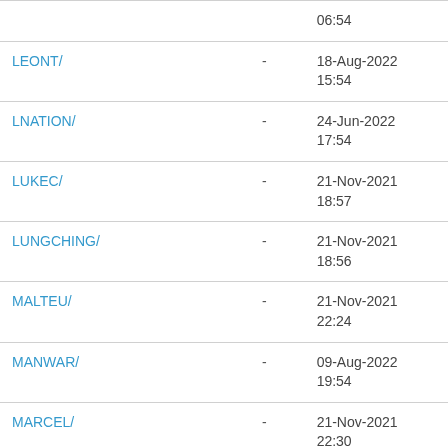| Name |  | Date |
| --- | --- | --- |
|  |  | 06:54 |
| LEONT/ | - | 18-Aug-2022
15:54 |
| LNATION/ | - | 24-Jun-2022
17:54 |
| LUKEC/ | - | 21-Nov-2021
18:57 |
| LUNGCHING/ | - | 21-Nov-2021
18:56 |
| MALTEU/ | - | 21-Nov-2021
22:24 |
| MANWAR/ | - | 09-Aug-2022
19:54 |
| MARCEL/ | - | 21-Nov-2021
22:30 |
| MARKF/ | - | 21-Nov-2021
22:29 |
| MATTN/ | - | 04-May-2022
14:44 |